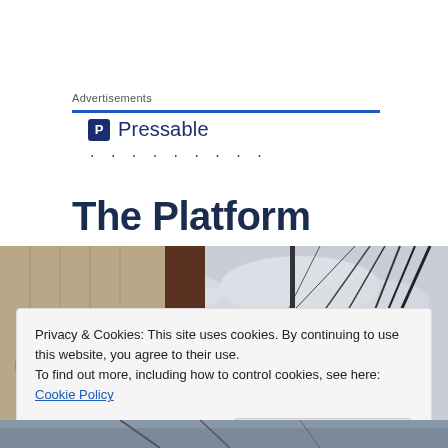Advertisements
[Figure (logo): Pressable logo with shield icon and brand name, followed by dotted line]
The Platform
[Figure (photo): Sailing boat rigging and masts against overcast sky]
Privacy & Cookies: This site uses cookies. By continuing to use this website, you agree to their use.
To find out more, including how to control cookies, see here: Cookie Policy
[Figure (photo): Sailing boat deck, bottom portion partially visible]